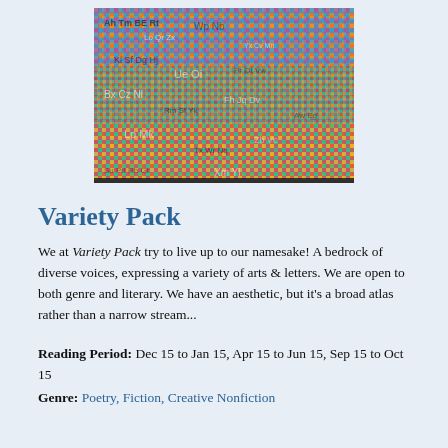[Figure (illustration): Colorful abstract artwork with dense overlapping letters and patterns in multiple bright colors including red, yellow, green, blue, and purple]
Variety Pack
We at Variety Pack try to live up to our namesake! A bedrock of diverse voices, expressing a variety of arts & letters. We are open to both genre and literary. We have an aesthetic, but it's a broad atlas rather than a narrow stream...
Reading Period: Dec 15 to Jan 15, Apr 15 to Jun 15, Sep 15 to Oct 15
Genre: Poetry, Fiction, Creative Nonfiction